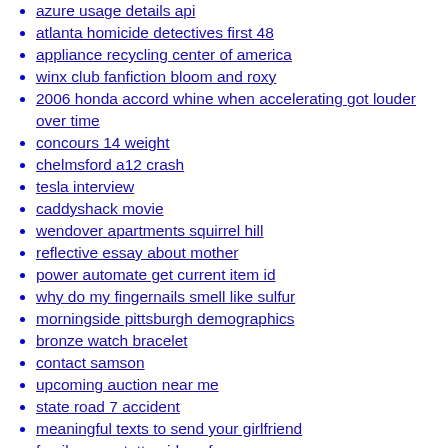airpods pro volume control android
azure usage details api
atlanta homicide detectives first 48
appliance recycling center of america
winx club fanfiction bloom and roxy
2006 honda accord whine when accelerating got louder over time
concours 14 weight
chelmsford a12 crash
tesla interview
caddyshack movie
wendover apartments squirrel hill
reflective essay about mother
power automate get current item id
why do my fingernails smell like sulfur
morningside pittsburgh demographics
bronze watch bracelet
contact samson
upcoming auction near me
state road 7 accident
meaningful texts to send your girlfriend
family name tattoo ideas for guys
husky tools customer service email
how long does it take to get over a 2 month relationship
can you tell if someone is looking at your message on